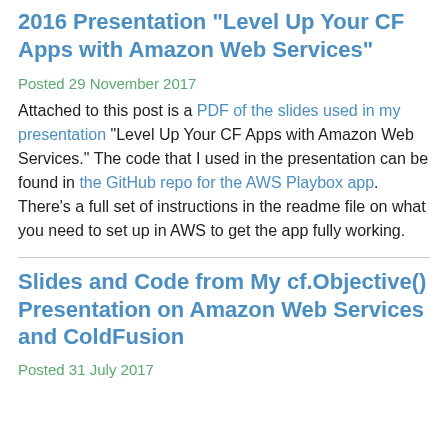2016 Presentation "Level Up Your CF Apps with Amazon Web Services"
Posted 29 November 2017
Attached to this post is a PDF of the slides used in my presentation “Level Up Your CF Apps with Amazon Web Services.” The code that I used in the presentation can be found in the GitHub repo for the AWS Playbox app. There’s a full set of instructions in the readme file on what you need to set up in AWS to get the app fully working.
Slides and Code from My cf.Objective() Presentation on Amazon Web Services and ColdFusion
Posted 31 July 2017